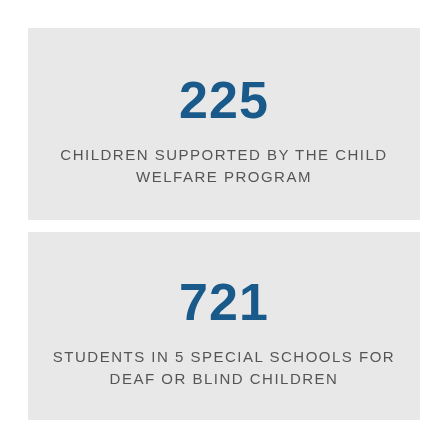[Figure (infographic): Statistic card showing 225 children supported by the Child Welfare Program]
[Figure (infographic): Statistic card showing 721 students in 5 special schools for deaf or blind children]